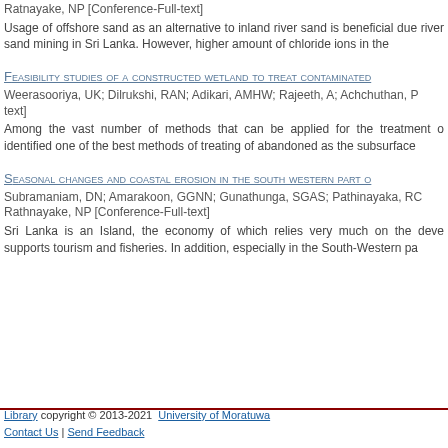Ratnayake, NP [Conference-Full-text]
Usage of offshore sand as an alternative to inland river sand is beneficial due river sand mining in Sri Lanka. However, higher amount of chloride ions in the
Feasibility studies of a constructed wetland to treat contaminated
Weerasooriya, UK; Dilrukshi, RAN; Adikari, AMHW; Rajeeth, A; Achchuthan, P text]
Among the vast number of methods that can be applied for the treatment o identified one of the best methods of treating of abandoned as the subsurface
Seasonal changes and coastal erosion in the south western part o
Subramaniam, DN; Amarakoon, GGNN; Gunathunga, SGAS; Pathinayaka, RC Rathnayake, NP [Conference-Full-text]
Sri Lanka is an Island, the economy of which relies very much on the deve supports tourism and fisheries. In addition, especially in the South-Western pa
Library copyright © 2013-2021  University of Moratuwa
Contact Us | Send Feedback